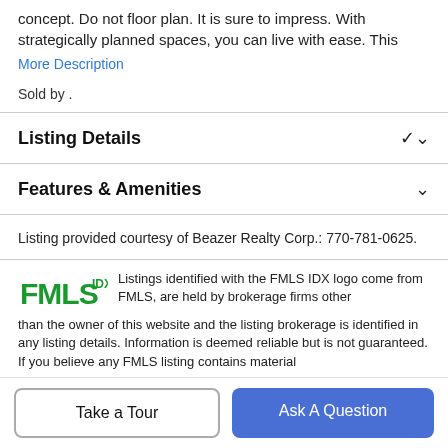concept. Do not floor plan. It is sure to impress. With strategically planned spaces, you can live with ease. This
More Description
Sold by .
Listing Details
Features & Amenities
Listing provided courtesy of Beazer Realty Corp.: 770-781-0625.
[Figure (logo): FMLS IDX logo in green]
Listings identified with the FMLS IDX logo come from FMLS, are held by brokerage firms other than the owner of this website and the listing brokerage is identified in any listing details. Information is deemed reliable but is not guaranteed. If you believe any FMLS listing contains material
Take a Tour
Ask A Question